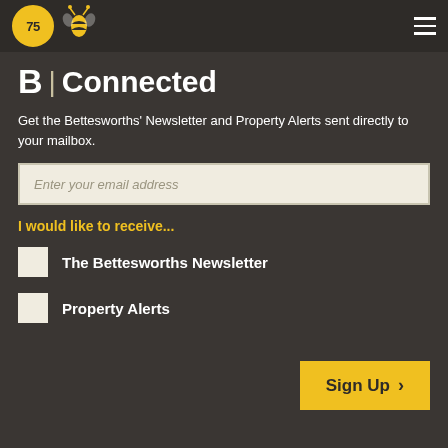Bettesworths 75 Years logo and bee logo with hamburger menu
B| Connected
Get the Bettesworths' Newsletter and Property Alerts sent directly to your mailbox.
Enter your email address
I would like to receive...
The Bettesworths Newsletter
Property Alerts
Sign Up >